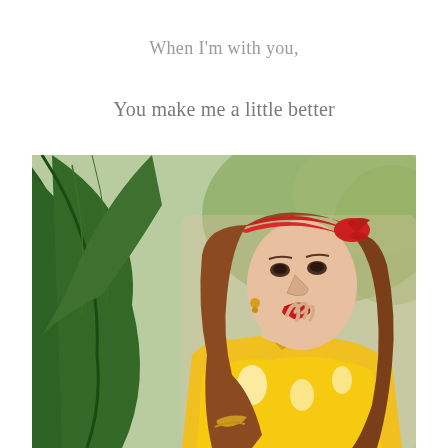When I'm with you,
You make me a little better
[Figure (photo): A young woman wearing a red bandana headband and bold red lipstick, dressed in a yellow floral patterned shirt, posing with her hand near her neck. Large green tropical leaves are visible in the background. She wears gold jewelry including bracelets and earrings.]